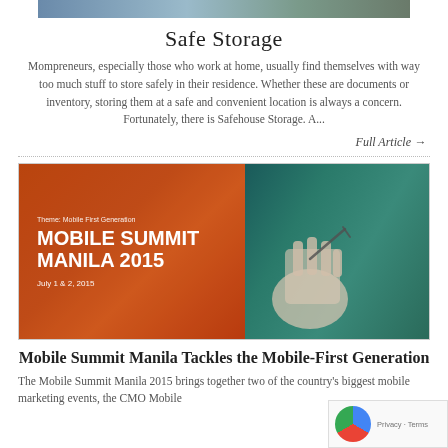[Figure (photo): Top strip showing partial image of safe storage related photo]
Safe Storage
Mompreneurs, especially those who work at home, usually find themselves with way too much stuff to store safely in their residence. Whether these are documents or inventory, storing them at a safe and convenient location is always a concern. Fortunately, there is Safehouse Storage. A...
Full Article →
[Figure (photo): Mobile Summit Manila 2015 promotional banner image with orange background and text 'Theme: Mobile First Generation MOBILE SUMMIT MANILA 2015 July 1 & 2, 2015', with a hand holding a smartphone on the right side]
Mobile Summit Manila Tackles the Mobile-First Generation
The Mobile Summit Manila 2015 brings together two of the country's biggest mobile marketing events, the CMO Mobile